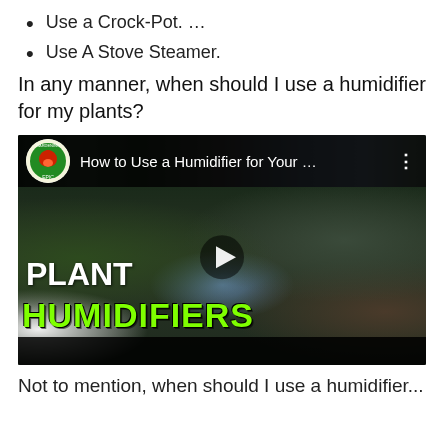Use a Crock-Pot. ...
Use A Stove Steamer.
In any manner, when should I use a humidifier for my plants?
[Figure (screenshot): YouTube video thumbnail from Epic Gardening channel titled 'How to Use a Humidifier for Your ...' showing indoor plants with a humidifier emitting steam. Text overlay reads 'PLANT HUMIDIFIERS' with a play button.]
Not to mention, when should I use a humidifier...